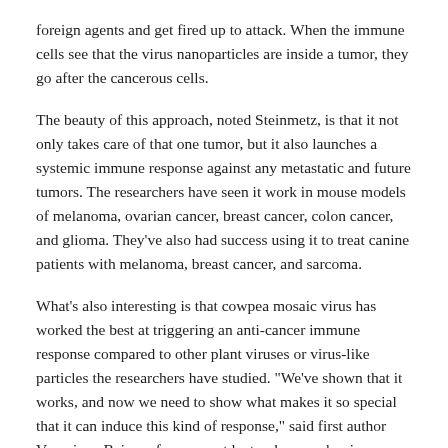foreign agents and get fired up to attack. When the immune cells see that the virus nanoparticles are inside a tumor, they go after the cancerous cells.
The beauty of this approach, noted Steinmetz, is that it not only takes care of that one tumor, but it also launches a systemic immune response against any metastatic and future tumors. The researchers have seen it work in mouse models of melanoma, ovarian cancer, breast cancer, colon cancer, and glioma. They've also had success using it to treat canine patients with melanoma, breast cancer, and sarcoma.
What's also interesting is that cowpea mosaic virus has worked the best at triggering an anti-cancer immune response compared to other plant viruses or virus-like particles the researchers have studied. "We've shown that it works, and now we need to show what makes it so special that it can induce this kind of response," said first author Veronique Beiss, a former postdoctoral researcher in Steinmetz's lab. "That's the knowledge gap we're looking to fill."